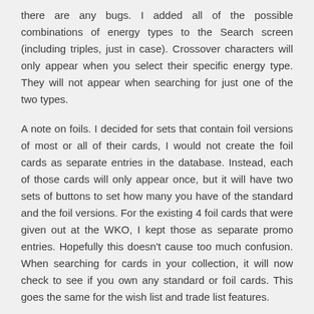there are any bugs. I added all of the possible combinations of energy types to the Search screen (including triples, just in case). Crossover characters will only appear when you select their specific energy type. They will not appear when searching for just one of the two types.
A note on foils. I decided for sets that contain foil versions of most or all of their cards, I would not create the foil cards as separate entries in the database. Instead, each of those cards will only appear once, but it will have two sets of buttons to set how many you have of the standard and the foil versions. For the existing 4 foil cards that were given out at the WKO, I kept those as separate promo entries. Hopefully this doesn't cause too much confusion. When searching for cards in your collection, it will now check to see if you own any standard or foil cards. This goes the same for the wish list and trade list features.
Please let me know if you have any feedback by contacting me using this sites contact form.